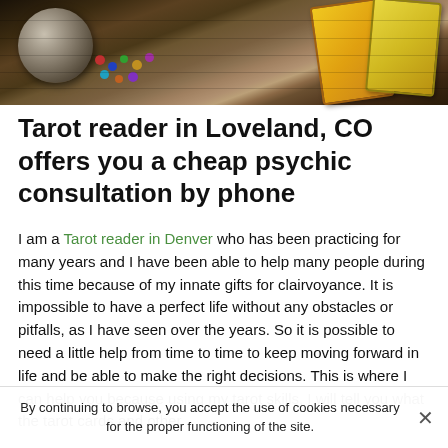[Figure (photo): Photo of tarot/mystical items on a wooden surface: a crystal globe, colorful gemstone beads, and tarot cards with gold/yellow designs in the upper right corner]
Tarot reader in Loveland, CO offers you a cheap psychic consultation by phone
I am a Tarot reader in Denver who has been practicing for many years and I have been able to help many people during this time because of my innate gifts for clairvoyance. It is impossible to have a perfect life without any obstacles or pitfalls, as I have seen over the years. So it is possible to need a little help from time to time to keep moving forward in life and be able to make the right decisions. This is where I can help you because using my tarot skills, I will tell you what the tarot cards and other
By continuing to browse, you accept the use of cookies necessary for the proper functioning of the site.